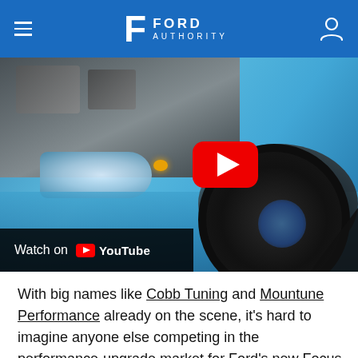Ford Authority
[Figure (photo): Blue Ford Focus RS hot hatch on a dyno with hood open showing engine bay, headlight illuminated. YouTube play button overlay visible. 'Watch on YouTube' bar at bottom left.]
With big names like Cobb Tuning and Mountune Performance already on the scene, it's hard to imagine anyone else competing in the performance-upgrade market for Ford's new Focus RS hot hatch.